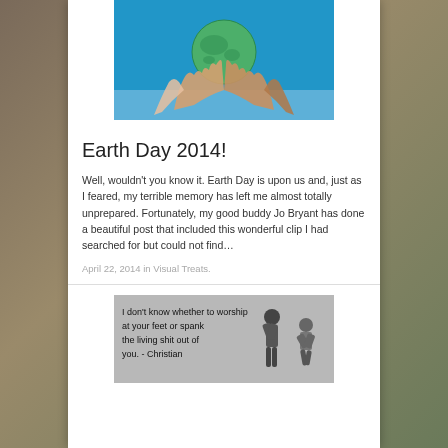[Figure (photo): Hands holding a globe against a blue sky background]
Earth Day 2014!
Well, wouldn't you know it. Earth Day is upon us and, just as I feared, my terrible memory has left me almost totally unprepared. Fortunately, my good buddy Jo Bryant has done a beautiful post that included this wonderful clip I had searched for but could not find…
April 22, 2014 in Visual Treats.
[Figure (illustration): Comic-style illustration with text: I don't know whether to worship at your feet or spank the living shit out of you. - Christian [Grey]]